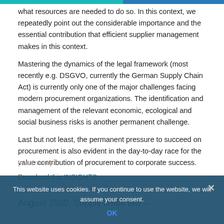what resources are needed to do so. In this context, we repeatedly point out the considerable importance and the essential contribution that efficient supplier management makes in this context.
Mastering the dynamics of the legal framework (most recently e.g. DSGVO, currently the German Supply Chain Act) is currently only one of the major challenges facing modern procurement organizations. The identification and management of the relevant economic, ecological and social business risks is another permanent challenge.
Last but not least, the permanent pressure to succeed on procurement is also evident in the day-to-day race for the value contribution of procurement to corporate success.
[read more]
Download this INSIGHTS
August 2020: Supply chain law –
This website uses cookies. If you continue to use the website, we will assume your consent.
OK